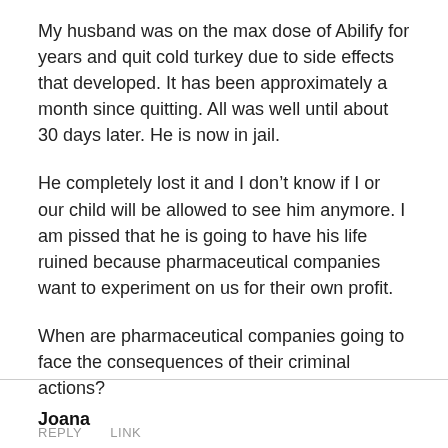My husband was on the max dose of Abilify for years and quit cold turkey due to side effects that developed. It has been approximately a month since quitting. All was well until about 30 days later. He is now in jail.
He completely lost it and I don’t know if I or our child will be allowed to see him anymore. I am pissed that he is going to have his life ruined because pharmaceutical companies want to experiment on us for their own profit.
When are pharmaceutical companies going to face the consequences of their criminal actions?
REPLY    LINK
Joana